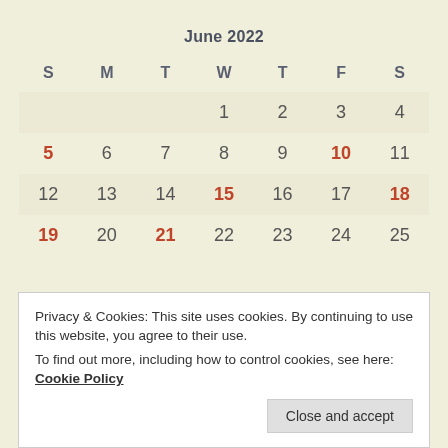June 2022
| S | M | T | W | T | F | S |
| --- | --- | --- | --- | --- | --- | --- |
|  |  |  | 1 | 2 | 3 | 4 |
| 5 | 6 | 7 | 8 | 9 | 10 | 11 |
| 12 | 13 | 14 | 15 | 16 | 17 | 18 |
| 19 | 20 | 21 | 22 | 23 | 24 | 25 |
Privacy & Cookies: This site uses cookies. By continuing to use this website, you agree to their use.
To find out more, including how to control cookies, see here: Cookie Policy
Close and accept